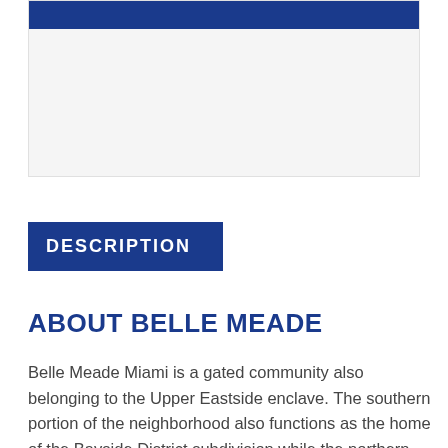[Figure (photo): Top portion of a real estate page image with dark blue bar visible at top]
DESCRIPTION
ABOUT BELLE MEADE
Belle Meade Miami is a gated community also belonging to the Upper Eastside enclave. The southern portion of the neighborhood also functions as the home of the Bayside District subdivision while the northern part is where you'll find what's called Belle Meade Island. Biscayne Boulevard is one of the major roadways you'll find to the west of